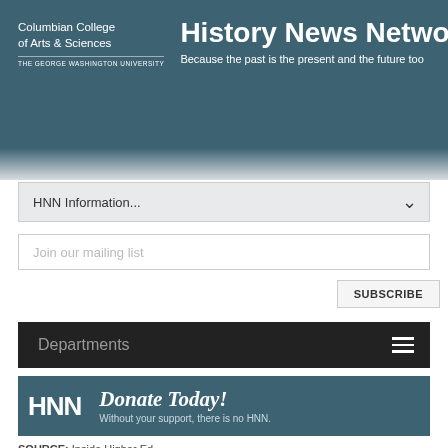Columbian College of Arts & Sciences THE GEORGE WASHINGTON UNIVERSITY | History News Network — Because the past is the present and the future too
HNN Information...
Join our mailing list
SUBSCRIBE
Departments
[Figure (other): HNN Donate Today! Without your support, there is no HNN. banner advertisement]
SOURCE: Inside Higher Ed
3/4/19
The Trouble With Classics...